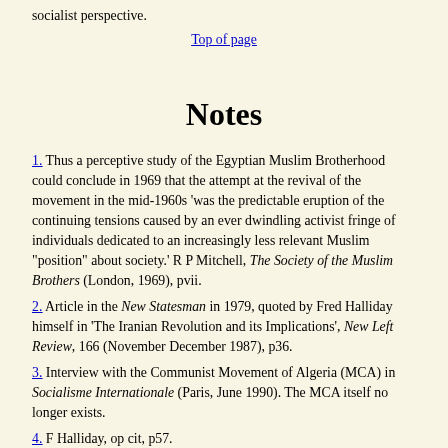socialist perspective.
Top of page
Notes
1. Thus a perceptive study of the Egyptian Muslim Brotherhood could conclude in 1969 that the attempt at the revival of the movement in the mid-1960s 'was the predictable eruption of the continuing tensions caused by an ever dwindling activist fringe of individuals dedicated to an increasingly less relevant Muslim "position" about society.' R P Mitchell, The Society of the Muslim Brothers (London, 1969), pvii.
2. Article in the New Statesman in 1979, quoted by Fred Halliday himself in 'The Iranian Revolution and its Implications', New Left Review, 166 (November December 1987), p36.
3. Interview with the Communist Movement of Algeria (MCA) in Socialisme Internationale (Paris, June 1990). The MCA itself no longer exists.
4. F Halliday, op cit, p57.
5. For an account of the support given by different left